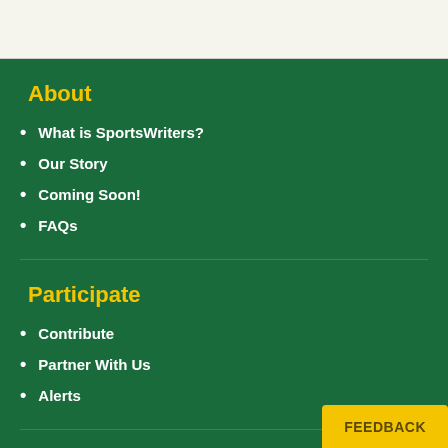About
What is SportsWriters?
Our Story
Coming Soon!
FAQs
Participate
Contribute
Partner With Us
Alerts
Contact
FEEDBACK